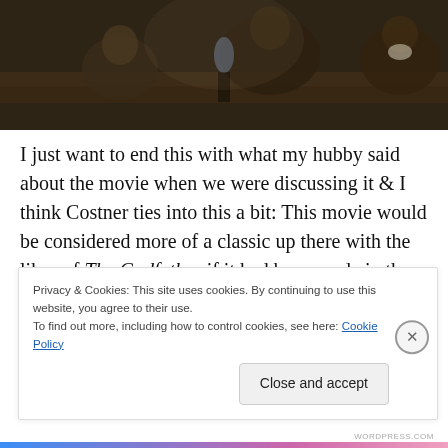[Figure (photo): Dark scene from a movie showing people seated, possibly in a courtroom or formal setting, dark wood furniture visible]
I just want to end this with what my hubby said about the movie when we were discussing it & I think Costner ties into this a bit: This movie would be considered more of a classic up there with the likes of The Godfather if it had been made in the 70s instead of the 80s. As much as I love the 80s, it didn't produce a lot of all-time classics and
Privacy & Cookies: This site uses cookies. By continuing to use this website, you agree to their use.
To find out more, including how to control cookies, see here: Cookie Policy
Close and accept